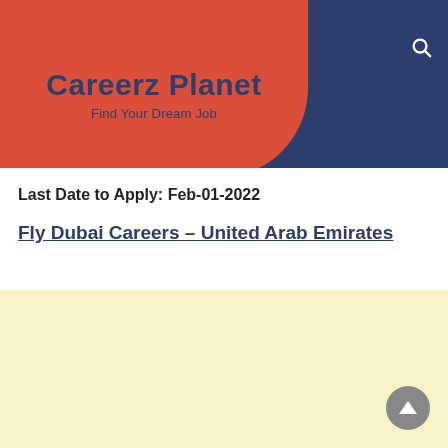Careerz Planet - Find Your Dream Job
Last Date to Apply: Feb-01-2022
Fly Dubai Careers – United Arab Emirates
[Figure (other): Light yellow advertisement placeholder block]